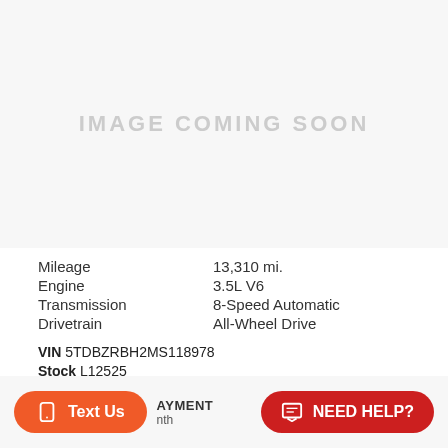[Figure (photo): Image coming soon placeholder — light gray background with centered text 'IMAGE COMING SOON']
Mileage   13,310 mi.
Engine   3.5L V6
Transmission   8-Speed Automatic
Drivetrain   All-Wheel Drive
VIN 5TDBZRBH2MS118978
Stock L12525
AYMENT
nth
Text Us
NEED HELP?